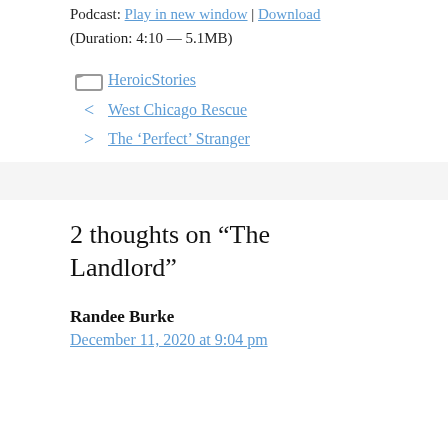Podcast: Play in new window | Download
(Duration: 4:10 — 5.1MB)
HeroicStories
< West Chicago Rescue
> The ‘Perfect’ Stranger
2 thoughts on “The Landlord”
Randee Burke
December 11, 2020 at 9:04 pm